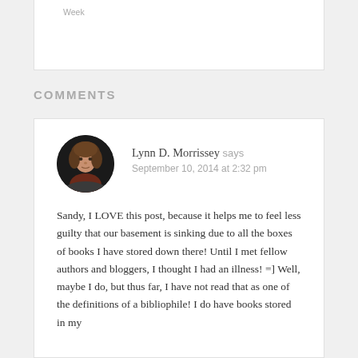Week
COMMENTS
Lynn D. Morrissey says
September 10, 2014 at 2:32 pm
Sandy, I LOVE this post, because it helps me to feel less guilty that our basement is sinking due to all the boxes of books I have stored down there! Until I met fellow authors and bloggers, I thought I had an illness! =] Well, maybe I do, but thus far, I have not read that as one of the definitions of a bibliophile! I do have books stored in my